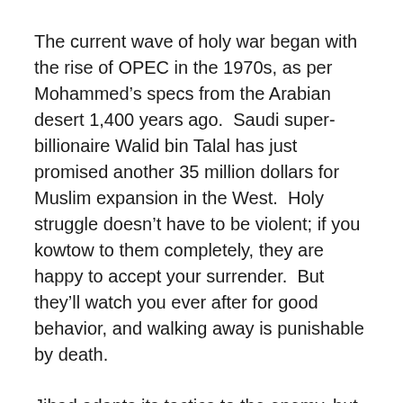The current wave of holy war began with the rise of OPEC in the 1970s, as per Mohammed’s specs from the Arabian desert 1,400 years ago.  Saudi super-billionaire Walid bin Talal has just promised another 35 million dollars for Muslim expansion in the West.  Holy struggle doesn’t have to be violent; if you kowtow to them completely, they are happy to accept your surrender.  But they’ll watch you ever after for good behavior, and walking away is punishable by death.
Jihad adapts its tactics to the enemy, but it never drops the goal of global conquest.  This is not a secret; our ruling classes and media are not as stupid as they pretend to be.
They know.
The European Union never has to face an election